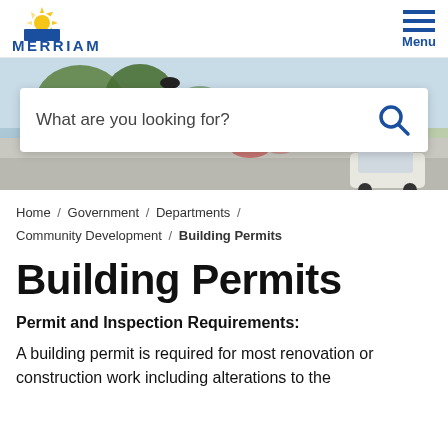MERRIAM / Menu
[Figure (screenshot): Hero banner photo of a tree-lined street/town center with a white search bar overlay reading 'What are you looking for?' and a search icon]
Home / Government / Departments / Community Development / Building Permits
Building Permits
Permit and Inspection Requirements:
A building permit is required for most renovation or construction work including alterations to the electrical, plumbing, or mechanical systems of a